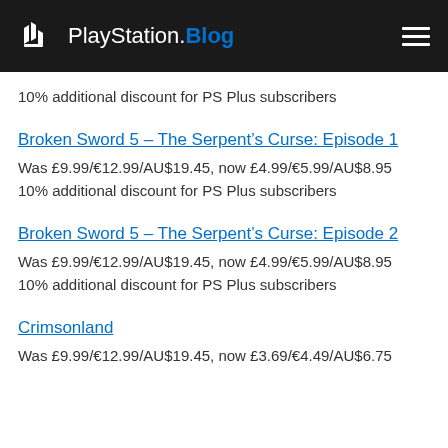PlayStation.Blog
10% additional discount for PS Plus subscribers
Broken Sword 5 – The Serpent's Curse: Episode 1
Was £9.99/€12.99/AU$19.45, now £4.99/€5.99/AU$8.95
10% additional discount for PS Plus subscribers
Broken Sword 5 – The Serpent's Curse: Episode 2
Was £9.99/€12.99/AU$19.45, now £4.99/€5.99/AU$8.95
10% additional discount for PS Plus subscribers
Crimsonland
Was £9.99/€12.99/AU$19.45, now £3.69/€4.49/AU$6.75